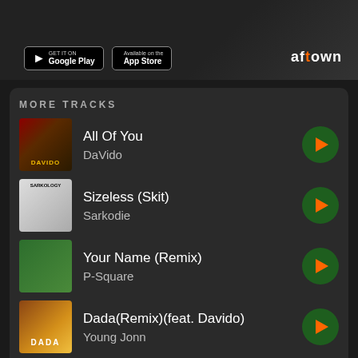[Figure (screenshot): Top banner showing app download buttons for Google Play and App Store, with Aftown logo on dark background]
MORE TRACKS
All Of You - DaVido
Sizeless (Skit) - Sarkodie
Your Name (Remix) - P-Square
Dada(Remix)(feat. Davido) - Young Jonn
Love Nwantiti (ah ah ah) - Ckay